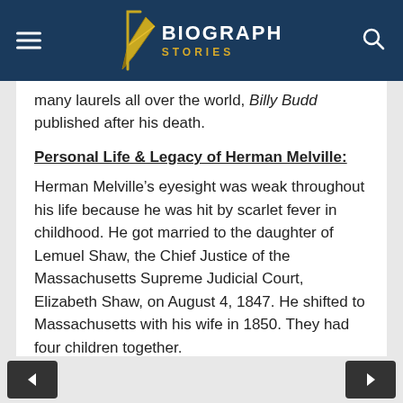Biograph Stories
many laurels all over the world, Billy Budd published after his death.
Personal Life & Legacy of Herman Melville:
Herman Melville’s eyesight was weak throughout his life because he was hit by scarlet fever in childhood. He got married to the daughter of Lemuel Shaw, the Chief Justice of the Massachusetts Supreme Judicial Court, Elizabeth Shaw, on August 4, 1847. He shifted to Massachusetts with his wife in 1850. They had four children together.
Due to cardiac dilation, He died at the age of 72 at his New York home. He was buried to rest at the